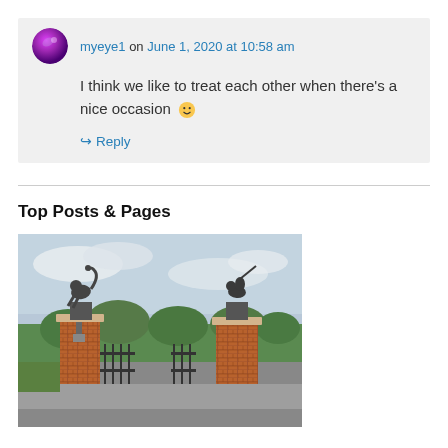myeye1 on June 1, 2020 at 10:58 am
I think we like to treat each other when there's a nice occasion 🙂
↪ Reply
Top Posts & Pages
[Figure (photo): Photo of ornate gate pillars topped with bronze lion and knight statues, with iron gates visible and green trees and overcast sky in the background.]